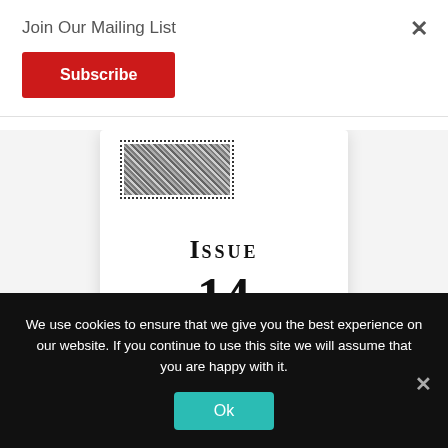Join Our Mailing List
Subscribe
[Figure (screenshot): Magazine cover card showing a stamp image at top-left and 'Issue 14' in large serif font]
We use cookies to ensure that we give you the best experience on our website. If you continue to use this site we will assume that you are happy with it.
Ok